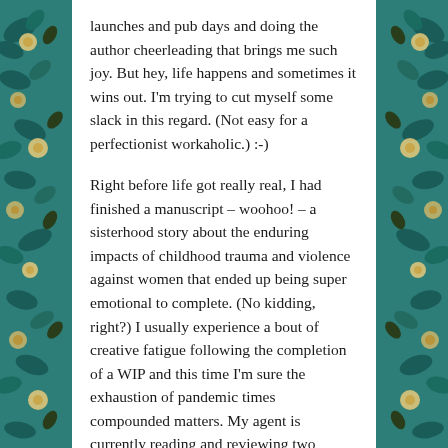launches and pub days and doing the author cheerleading that brings me such joy. But hey, life happens and sometimes it wins out. I'm trying to cut myself some slack in this regard. (Not easy for a perfectionist workaholic.) :-)
Right before life got really real, I had finished a manuscript – woohoo! – a sisterhood story about the enduring impacts of childhood trauma and violence against women that ended up being super emotional to complete. (No kidding, right?) I usually experience a bout of creative fatigue following the completion of a WIP and this time I'm sure the exhaustion of pandemic times compounded matters. My agent is currently reading and reviewing two manuscripts that I am so damn proud of. Both are sisterhood stories. The first is the story I've been trying to find the language and courage to write since